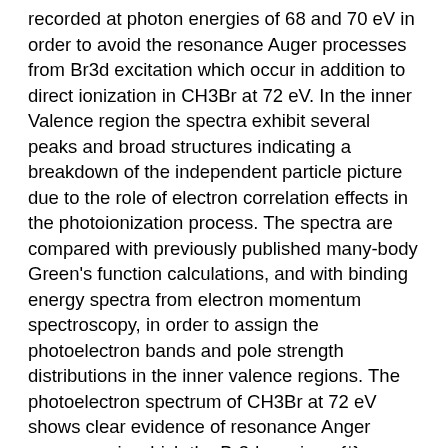recorded at photon energies of 68 and 70 eV in order to avoid the resonance Auger processes from Br3d excitation which occur in addition to direct ionization in CH3Br at 72 eV. In the inner Valence region the spectra exhibit several peaks and broad structures indicating a breakdown of the independent particle picture due to the role of electron correlation effects in the photoionization process. The spectra are compared with previously published many-body Green's function calculations, and with binding energy spectra from electron momentum spectroscopy, in order to assign the photoelectron bands and pole strength distributions in the inner valence regions. The photoelectron spectrum of CH3Br at 72 eV shows clear evidence of resonance Anger processes in which the Br3d -> sigma{*} excited electron acts as a spectator in the electronic decay. Evidence for participator autoionization processes is